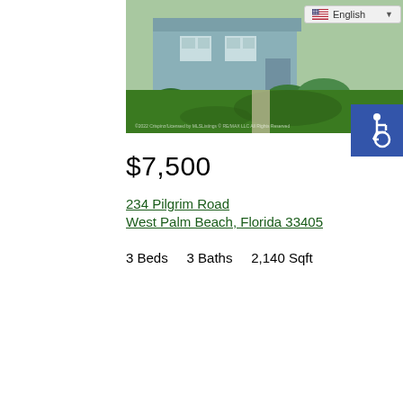[Figure (photo): Exterior photo of a house with green lawn and trees, blue house visible in background]
$7,500
234 Pilgrim Road
West Palm Beach, Florida 33405
3 Beds    3 Baths    2,140 Sqft